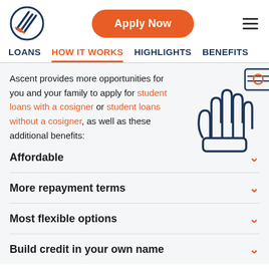[Figure (logo): Ascent Student Loans circular logo with stylized pencil/lines in blue and orange]
Apply Now
[Figure (illustration): Hand holding up money/bills icon in dark blue outline style]
LOANS   HOW IT WORKS   HIGHLIGHTS   BENEFITS
Ascent provides more opportunities for you and your family to apply for student loans with a cosigner or student loans without a cosigner, as well as these additional benefits:
Affordable
More repayment terms
Most flexible options
Build credit in your own name